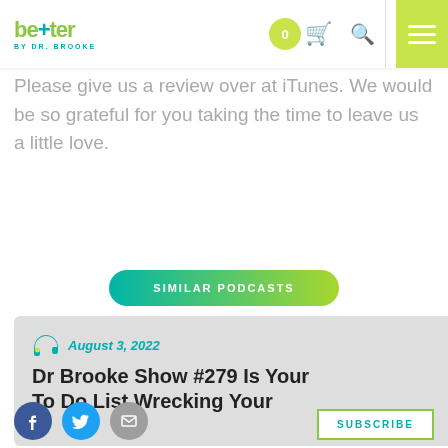better BY DR. BROOKE
Please give us a review over at iTunes. We would be so grateful for you taking the time to leave us a little love.
SIMILAR PODCASTS
[Figure (screenshot): Podcast card showing headphones icon, date August 3, 2022, and title Dr Brooke Show #279 Is Your To Do List Wrecking Your]
Dr Brooke Show #279 Is Your To Do List Wrecking Your